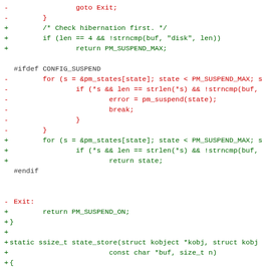[Figure (screenshot): Code diff showing changes to a Linux kernel power management file. Red lines (prefixed with -) show removed code including goto Exit, closing braces, and a for loop with pm_suspend. Green lines (prefixed with +) show added code including hibernation check, PM_SUSPEND_MAX return, new for loop, return state, Exit label replacement, return PM_SUSPEND_ON, closing brace, and new state_store function signature.]